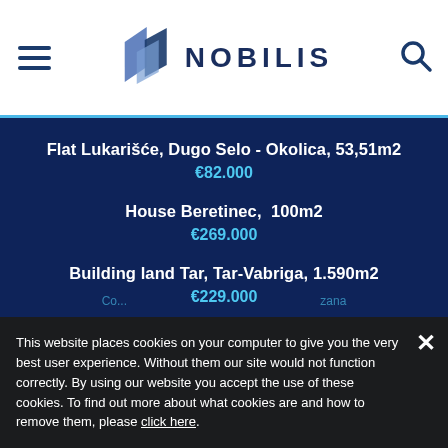[Figure (logo): Nobilis real estate logo with stylized building icon and NOBILIS text]
Flat Lukarišće, Dugo Selo - Okolica, 53,51m2
€82.000
House Beretinec,  100m2
€269.000
Building land Tar, Tar-Vabriga, 1.590m2
€229.000
This website places cookies on your computer to give you the very best user experience. Without them our site would not function correctly. By using our website you accept the use of these cookies. To find out more about what cookies are and how to remove them, please click here.